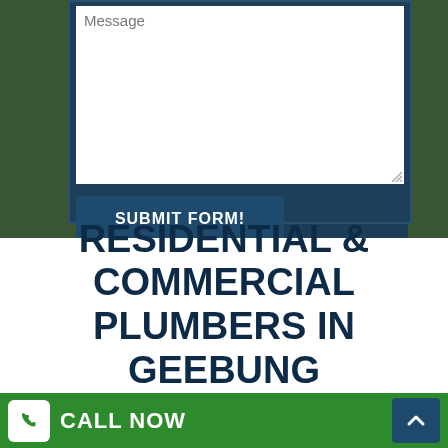[Figure (screenshot): Contact form section with message textarea and submit button on dark blue background with greenery on sides]
RESIDENTIAL & COMMERCIAL PLUMBERS IN GEEBUNG
delivers many plumbing solutions for both commercial
[Figure (infographic): Green footer bar with CALL NOW button with phone icon and scroll-to-top arrow button]